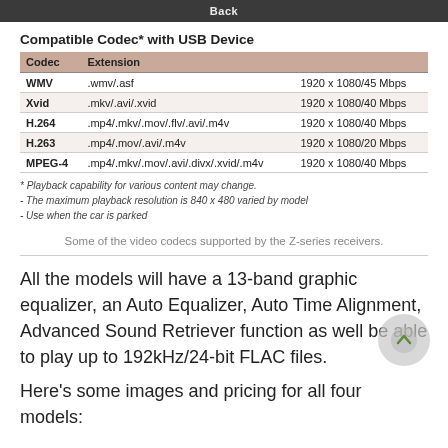Back
Compatible Codec* with USB Device
| Codec | Extension |  |
| --- | --- | --- |
| WMV | .wmv/.asf | 1920 x 1080/45 Mbps |
| Xvid | .mkv/.avi/.xvid | 1920 x 1080/40 Mbps |
| H.264 | .mp4/.mkv/.mov/.flv/.avi/.m4v | 1920 x 1080/40 Mbps |
| H.263 | .mp4/.mov/.avi/.m4v | 1920 x 1080/20 Mbps |
| MPEG-4 | .mp4/.mkv/.mov/.avi/.divx/.xvid/.m4v | 1920 x 1080/40 Mbps |
* Playback capability for various content may change.
- The maximum playback resolution is 840 x 480 varied by model
- Use when the car is parked
Some of the video codecs supported by the Z-series receivers.
All the models will have a 13-band graphic equalizer, an Auto Equalizer, Auto Time Alignment, Advanced Sound Retriever function as well be able to play up to 192kHz/24-bit FLAC files.
Here's some images and pricing for all four models: